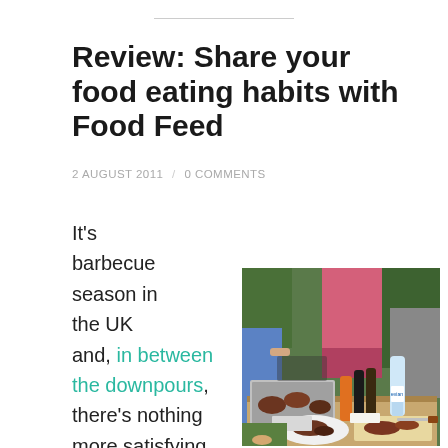Review: Share your food eating habits with Food Feed
2 AUGUST 2011 / 0 COMMENTS
It's barbecue season in the UK and, in between the downpours, there's nothing more satisfying than getting out in the sun and
[Figure (photo): Outdoor barbecue scene showing people around a table with grilled meat in a tray, condiments, and plates of food on a wooden surface in a garden.]